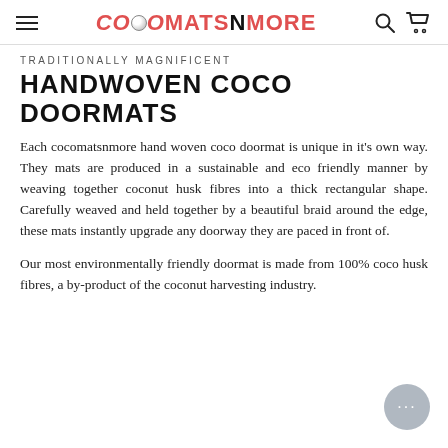COCOMATSNMORE
TRADITIONALLY MAGNIFICENT
HANDWOVEN COCO DOORMATS
Each cocomatsnmore hand woven coco doormat is unique in it's own way. They mats are produced in a sustainable and eco friendly manner by weaving together coconut husk fibres into a thick rectangular shape. Carefully weaved and held together by a beautiful braid around the edge, these mats instantly upgrade any doorway they are paced in front of.
Our most environmentally friendly doormat is made from 100% coco husk fibres, a by-product of the coconut harvesting industry.